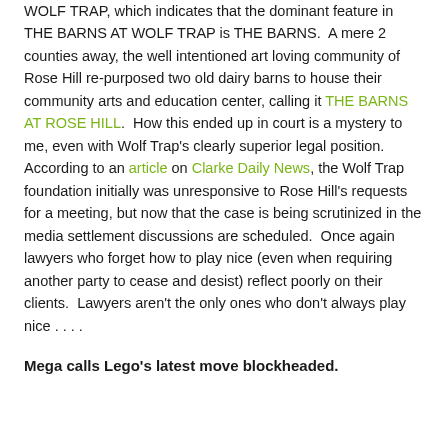WOLF TRAP, which indicates that the dominant feature in THE BARNS AT WOLF TRAP is THE BARNS.  A mere 2 counties away, the well intentioned art loving community of Rose Hill re-purposed two old dairy barns to house their community arts and education center, calling it THE BARNS AT ROSE HILL.  How this ended up in court is a mystery to me, even with Wolf Trap's clearly superior legal position.  According to an article on Clarke Daily News, the Wolf Trap foundation initially was unresponsive to Rose Hill's requests for a meeting, but now that the case is being scrutinized in the media settlement discussions are scheduled.  Once again lawyers who forget how to play nice (even when requiring another party to cease and desist) reflect poorly on their clients.  Lawyers aren't the only ones who don't always play nice . . . .
Mega calls Lego's latest move blockheaded.